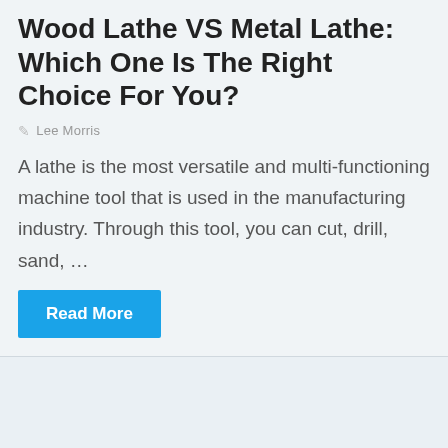Wood Lathe VS Metal Lathe: Which One Is The Right Choice For You?
Lee Morris
A lathe is the most versatile and multi-functioning machine tool that is used in the manufacturing industry. Through this tool, you can cut, drill, sand, …
Read More